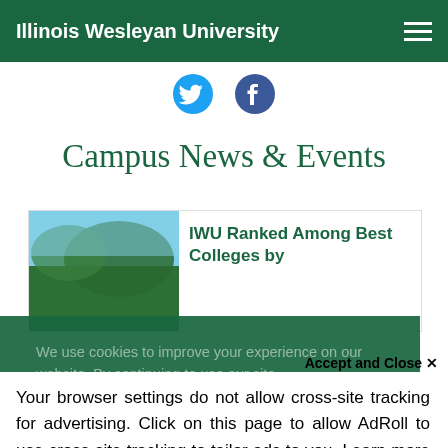Illinois Wesleyan University
[Figure (other): Twitter and Facebook social media icons]
Campus News & Events
[Figure (photo): Outdoor campus photo with sky and green leaves, alongside article headline: IWU Ranked Among Best Colleges by...]
We use cookies to improve your experience on our website. By continuing to use our site...
Accept and Close ×
Your browser settings do not allow cross-site tracking for advertising. Click on this page to allow AdRoll to use cross-site tracking to tailor ads to you. Learn more or opt out of this AdRoll tracking by clicking here. This message only appears once.